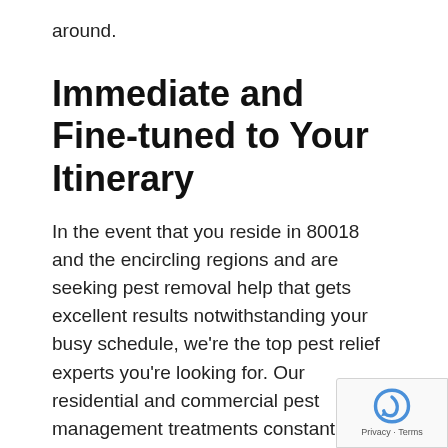around.
Immediate and Fine-tuned to Your Itinerary
In the event that you reside in 80018 and the encircling regions and are seeking pest removal help that gets excellent results notwithstanding your busy schedule, we're the top pest relief experts you're looking for. Our residential and commercial pest management treatments constantly are no different from your time and schedule. At all times.
Licensed and Insured
We're a locally-owned comprehensive pest reli firm committed to defending your home becaus